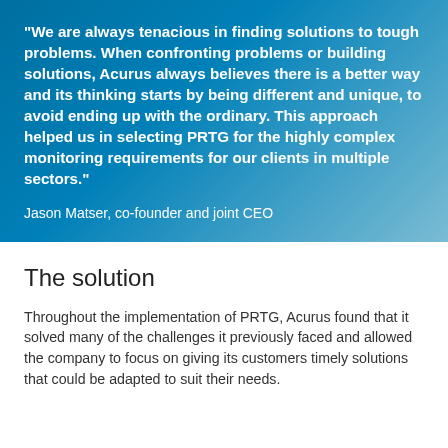"We are always tenacious in finding solutions to tough problems. When confronting problems or building solutions, Acurus always believes there is a better way and its thinking starts by being different and unique, to avoid ending up with the ordinary. This approach helped us in selecting PRTG for the highly complex monitoring requirements for our clients in multiple sectors."
Jason Matser, co-founder and joint CEO
The solution
Throughout the implementation of PRTG, Acurus found that it solved many of the challenges it previously faced and allowed the company to focus on giving its customers timely solutions that could be adapted to suit their needs.